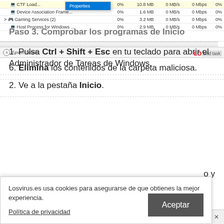[Figure (screenshot): Windows Task Manager screenshot showing process list with columns for CPU, Memory, Disk, Network, GPU. Rows visible: Device Association Frame... (0%, 1.6 MB, 0 MB/s, 0 Mbps, 0%), Gaming Services (2) (0%, 3.2 MB, 0 MB/s, 0 Mbps, 0%), Host Process for Windows... (0%, 2.9 MB, 0 MB/s, 0 Mbps, 0%). A context menu showing 'Properties' is visible. A 'Fewer details' button is at the bottom. LosVirus logo is overlaid.]
6. Elimina los contenidos de la carpeta maliciosa.
Paso 3. Comprobar los programas de Inicio
1. Pulsa Ctrl + Shift + Esc en tu teclado para abrir el Administrador de Tareas de Windows.
2. Ve a la pestaña Inicio.
Losvirus.es usa cookies para asegurarse de que obtienes la mejor experiencia.
Política de privacidad
Aceptar